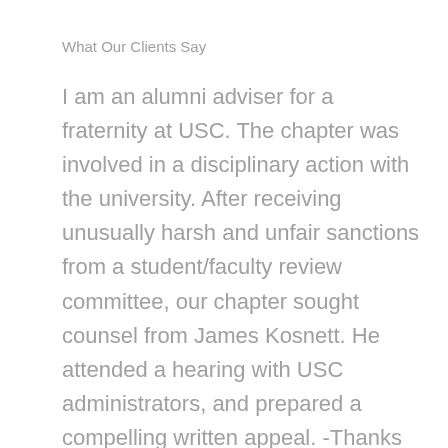What Our Clients Say
I am an alumni adviser for a fraternity at USC. The chapter was involved in a disciplinary action with the university. After receiving unusually harsh and unfair sanctions from a student/faculty review committee, our chapter sought counsel from James Kosnett. He attended a hearing with USC administrators, and prepared a compelling written appeal. -Thanks to James Kosnett we won our appeal..